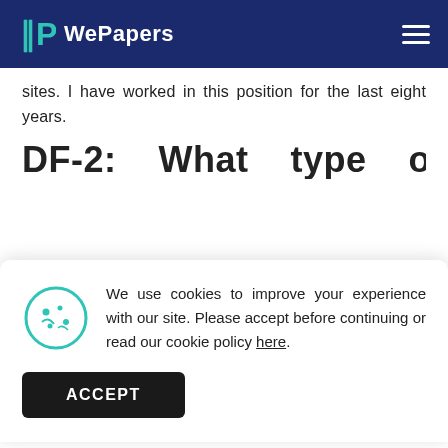WePapers
sites. I have worked in this position for the last eight years.
DF-2:    What    type    of
We use cookies to improve your experience with our site. Please accept before continuing or read our cookie policy here.
(visible through luminal). Find blood that had been washed away with the help of luminal. I also have a diploma with the University of Mississippi for Backtrack.
DF-3:   How   did   yo...